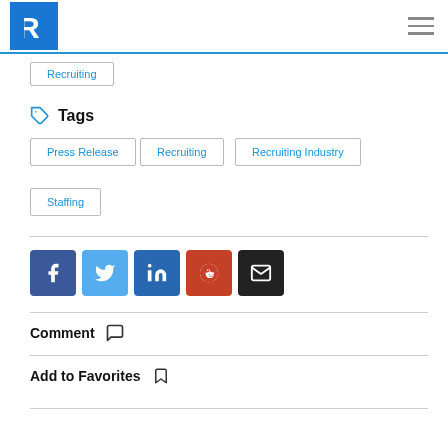R (logo) — hamburger menu
Recruiting
Tags
Press Release
Recruiting
Recruiting Industry
Staffing
[Figure (infographic): Social sharing buttons: Facebook, Twitter, LinkedIn, Reddit, Email]
Comment
Add to Favorites